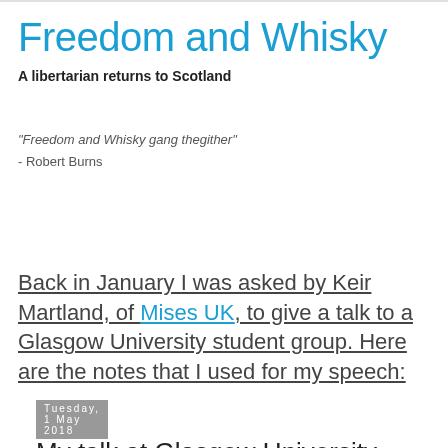Freedom and Whisky
A libertarian returns to Scotland
"Freedom and Whisky gang thegither"
- Robert Burns
Tuesday, 1 May 2018
My talk at Glasgow University
Back in January I was asked by Keir Martland, of Mises UK, to give a talk to a Glasgow University student group. Here are the notes that I used for my speech: